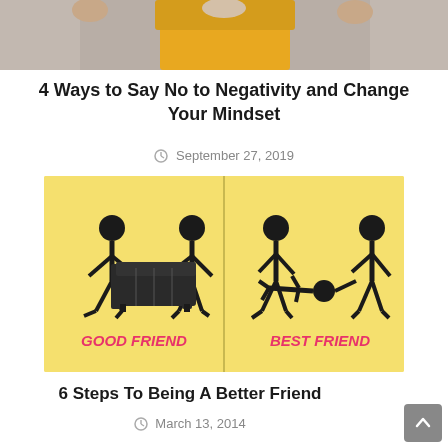[Figure (photo): Partial top image showing person in yellow/orange shirt, cropped at top]
4 Ways to Say No to Negativity and Change Your Mindset
September 27, 2019
[Figure (illustration): Yellow background illustration split into two panels: left panel shows two stick figures carrying a couch labeled GOOD FRIEND; right panel shows two stick figures dragging a person on the ground labeled BEST FRIEND]
6 Steps To Being A Better Friend
March 13, 2014